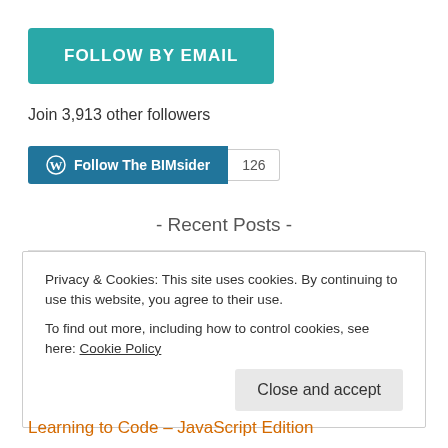[Figure (other): FOLLOW BY EMAIL button in teal/green color]
Join 3,913 other followers
[Figure (other): WordPress Follow The BIMsider button with count 126]
- Recent Posts -
Laptop🖥 vs Desktop🖥 WFH Edition
Privacy & Cookies: This site uses cookies. By continuing to use this website, you agree to their use.
To find out more, including how to control cookies, see here: Cookie Policy
Close and accept
Learning to Code – JavaScript Edition